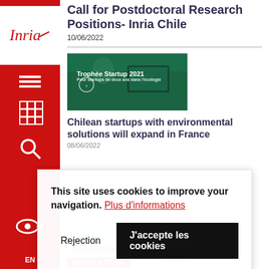Call for Postdoctoral Research Positions- Inria Chile
10/06/2022
[Figure (photo): Green-tinted photo of people at a computer with text 'Trophée Startup 2021']
Chilean startups with environmental solutions will expand in France
08/06/2022
This site uses cookies to improve your navigation. Plus d'informations
Rejection
J'accepte les cookies
INNOVATION
Internet of Things